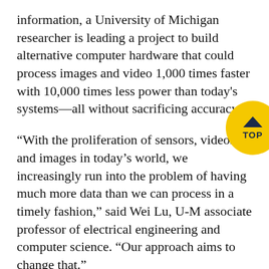information, a University of Michigan researcher is leading a project to build alternative computer hardware that could process images and video 1,000 times faster with 10,000 times less power than today's systems—all without sacrificing accuracy.
“With the proliferation of sensors, videos and images in today’s world, we increasingly run into the problem of having much more data than we can process in a timely fashion,” said Wei Lu, U-M associate professor of electrical engineering and computer science. “Our approach aims to change that.”
Lu has been awarded an up-to-$5.7 million contract from the Defense Advanced Research Projects
[Figure (other): Yellow circular TOP button with dark navy chevron arrow pointing up and the word TOP below it]